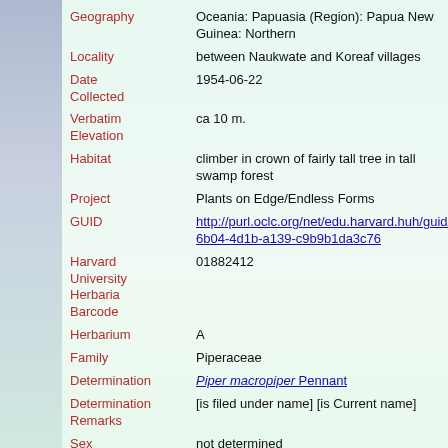| Field | Value |
| --- | --- |
| Geography | Oceania: Papuasia (Region): Papua New Guinea: Northern |
| Locality | between Naukwate and Koreaf villages |
| Date Collected | 1954-06-22 |
| Verbatim Elevation | ca 10 m. |
| Habitat | climber in crown of fairly tall tree in tall swamp forest |
| Project | Plants on Edge/Endless Forms |
| GUID | http://purl.oclc.org/net/edu.harvard.huh/guid/uuid/492...6b04-4d1b-a139-c9b9b1da3c76 |
| Harvard University Herbaria Barcode | 01882412 |
| Herbarium | A |
| Family | Piperaceae |
| Determination | Piper macropiper Pennant |
| Determination Remarks | [is filed under name] [is Current name] |
| Sex | not determined |
| Phenology | NotDetermined |
| Preparation | Sheet |